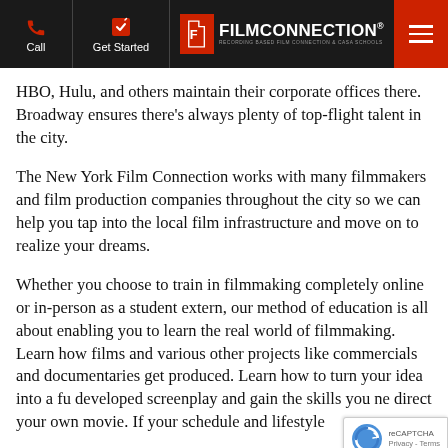Film Connection — Call | Get Started | [logo] | Menu
HBO, Hulu, and others maintain their corporate offices there. Broadway ensures there's always plenty of top-flight talent in the city.
The New York Film Connection works with many filmmakers and film production companies throughout the city so we can help you tap into the local film infrastructure and move on to realize your dreams.
Whether you choose to train in filmmaking completely online or in-person as a student extern, our method of education is all about enabling you to learn the real world of filmmaking. Learn how films and various other projects like commercials and documentaries get produced. Learn how to turn your idea into a fully developed screenplay and gain the skills you need to direct your own movie. If your schedule and lifestyle